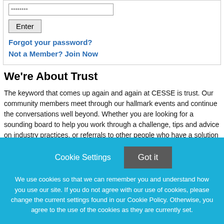Password
Enter
Forgot your password?
Not a Member? Join Now
We're About Trust
The keyword that comes up again and again at CESSE is trust. Our community members meet through our hallmark events and continue the conversations well beyond. Whether you are looking for a sounding board to help you work through a challenge, tips and advice on industry practices, or referrals to other people who have a solution you can use, CESSE is here to be, or become, your professional network of choice.
Cookie Settings
Got it
We use cookies so that we can remember you and understand how you use our site. If you do not agree with our use of cookies, please change the current settings found in our Cookie Policy. Otherwise, you agree to the use of the cookies as they are currently set.